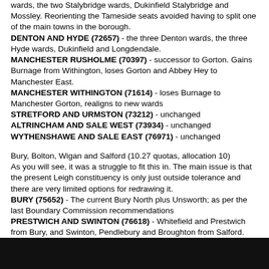wards, the two Stalybridge wards, Dukinfield Stalybridge and Mossley. Reorienting the Tameside seats avoided having to split one of the main towns in the borough.
DENTON AND HYDE (72657) - the three Denton wards, the three Hyde wards, Dukinfield and Longdendale.
MANCHESTER RUSHOLME (70397) - successor to Gorton. Gains Burnage from Withington, loses Gorton and Abbey Hey to Manchester East.
MANCHESTER WITHINGTON (71614) - loses Burnage to Manchester Gorton, realigns to new wards
STRETFORD AND URMSTON (73212) - unchanged
ALTRINCHAM AND SALE WEST (73934) - unchanged
WYTHENSHAWE AND SALE EAST (76971) - unchanged
Bury, Bolton, Wigan and Salford (10.27 quotas, allocation 10)
As you will see, it was a struggle to fit this in. The main issue is that the present Leigh constituency is only just outside tolerance and there are very limited options for redrawing it.
BURY (75652) - The current Bury North plus Unsworth; as per the last Boundary Commission recommendations
PRESTWICH AND SWINTON (76618) - Whitefield and Prestwich from Bury, and Swinton, Pendlebury and Broughton from Salford.
SALFORD AND ECCLES (75017) - Includes Kersal and now all of Eccles.
WORSLEY (75262) - Worsley, Irlam, Cadishead, Walkden, Tyldesley and Astley Mosley Common
LEIGH (76833) - Regains Atherton from Bolton West, loses Astley Mosley